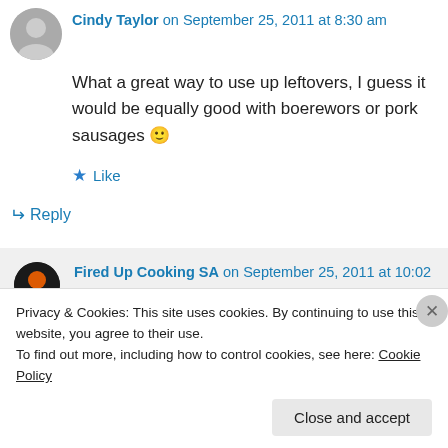Cindy Taylor on September 25, 2011 at 8:30 am
What a great way to use up leftovers, I guess it would be equally good with boerewors or pork sausages 🙂
Like
Reply
Fired Up Cooking SA on September 25, 2011 at 10:02 pm
Privacy & Cookies: This site uses cookies. By continuing to use this website, you agree to their use. To find out more, including how to control cookies, see here: Cookie Policy
Close and accept